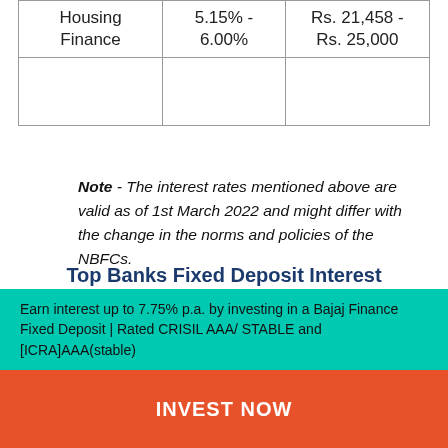| Housing
Finance | 5.15% -
6.00% | Rs. 21,458 -
Rs. 25,000 |
Note - The interest rates mentioned above are valid as of 1st March 2022 and might differ with the change in the norms and policies of the NBFCs.
As per RBI guidelines, senior citizens should be offered Rs. 50 lakh fixed deposit interest per month at special rates by banks and NBFCs. Check out the tables below to find out the interest amount.
Top Banks Fixed Deposit Interest Rates for Senior Citizens
Earn interest up to 7.75% p.a. by investing in a Bajaj Finance Fixed Deposit | Rated CRISIL AAA/ STABLE and [ICRA]AAA(stable)
INVEST NOW